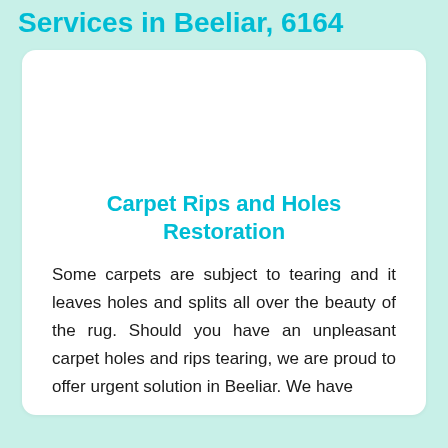Services in Beeliar, 6164
Carpet Rips and Holes Restoration
Some carpets are subject to tearing and it leaves holes and splits all over the beauty of the rug. Should you have an unpleasant carpet holes and rips tearing, we are proud to offer urgent solution in Beeliar. We have